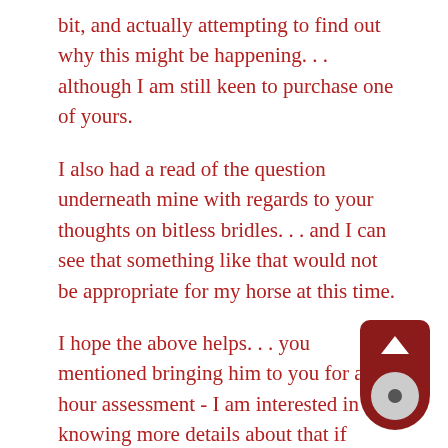bit, and actually attempting to find out why this might be happening... although I am still keen to purchase one of yours.
I also had a read of the question underneath mine with regards to your thoughts on bitless bridles... and I can see that something like that would not be appropriate for my horse at this time.
I hope the above helps... you mentioned bringing him to you for a 1 hour assessment - I am interested in knowing more details about that if possible?
Thank you again so much for your time, it is really appreciated. And I also just want to say - I am so sorry that you and Linda have had a terrible week... I just read your blog: when it rains, it pours! ☹ I am also horrified